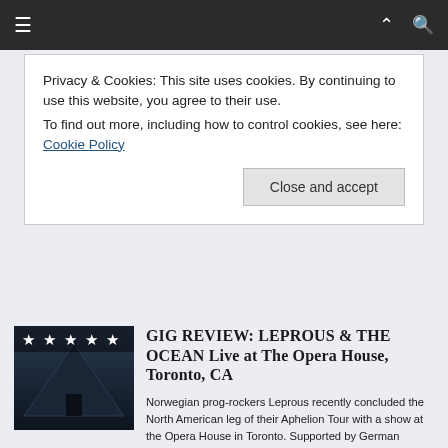Privacy & Cookies: This site uses cookies. By continuing to use this website, you agree to their use.
To find out more, including how to control cookies, see here: Cookie Policy
Close and accept
[Figure (photo): Dark moody album cover or concert image with a triangular shape against a blue-grey background and five white star ratings overlaid at the top]
GIG REVIEW: LEPROUS & THE OCEAN Live at The Opera House, Toronto, CA
Norwegian prog-rockers Leprous recently concluded the North American leg of their Aphelion Tour with a show at the Opera House in Toronto. Supported by German progressive metal band The Ocean, the Aphelion tour consisted of 33 shows across the United [...]